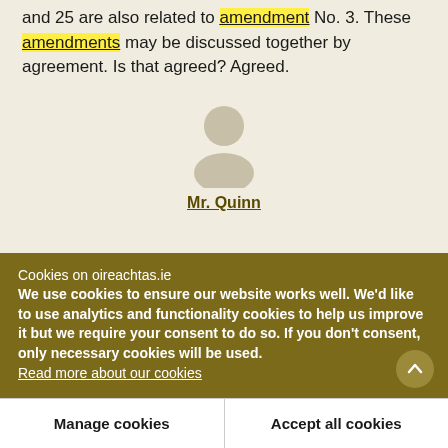and 25 are also related to amendment No. 3. These amendments may be discussed together by agreement. Is that agreed? Agreed.
[Figure (illustration): Generic person/avatar icon (silhouette of head and shoulders) in light grey/beige]
Mr. Quinn
Cookies on oireachtas.ie
We use cookies to ensure our website works well. We'd like to use analytics and functionality cookies to help us improve it but we require your consent to do so. If you don't consent, only necessary cookies will be used. Read more about our cookies
Manage cookies
Accept all cookies